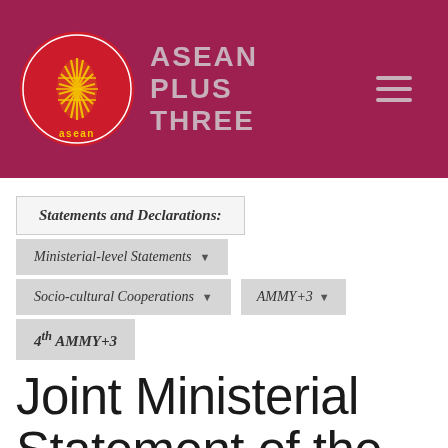ASEAN PLUS THREE
Statements and Declarations:
Ministerial-level Statements
Socio-cultural Cooperations
AMMY+3
4th AMMY+3
Joint Ministerial Statement of the 4th ASEAN Plus Three